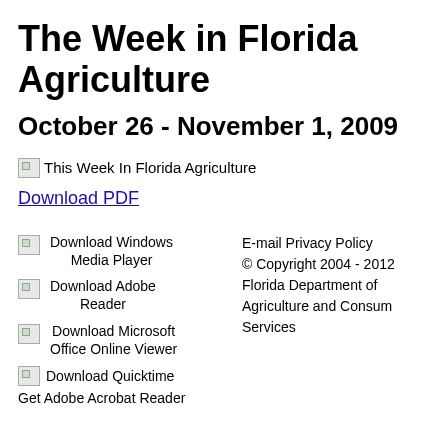The Week in Florida Agriculture
October 26 - November 1, 2009
[Figure (illustration): Broken image placeholder labeled 'This Week In Florida Agriculture']
Download PDF
[Figure (illustration): Broken image placeholder for Download Windows Media Player]
Download Windows Media Player
[Figure (illustration): Broken image placeholder for Download Adobe Reader]
Download Adobe Reader
[Figure (illustration): Broken image placeholder for Download Microsoft Office Online Viewer]
Download Microsoft Office Online Viewer
[Figure (illustration): Broken image placeholder for Download Quicktime]
Download Quicktime
Get Adobe Acrobat Reader
E-mail Privacy Policy
© Copyright 2004 - 2012
Florida Department of Agriculture and Consumer Services